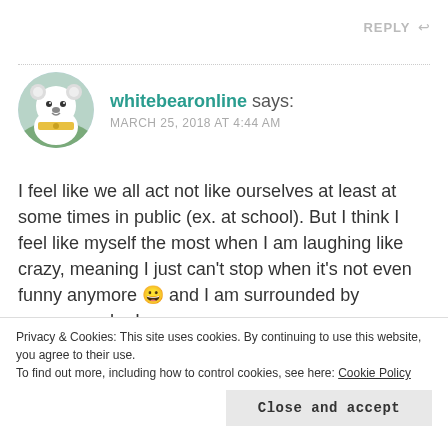REPLY ↩
whitebearonline says: MARCH 25, 2018 AT 4:44 AM
I feel like we all act not like ourselves at least at some times in public (ex. at school). But I think I feel like myself the most when I am laughing like crazy, meaning I just can't stop when it's not even funny anymore 😀 and I am surrounded by someone who I
Privacy & Cookies: This site uses cookies. By continuing to use this website, you agree to their use.
To find out more, including how to control cookies, see here: Cookie Policy
Close and accept